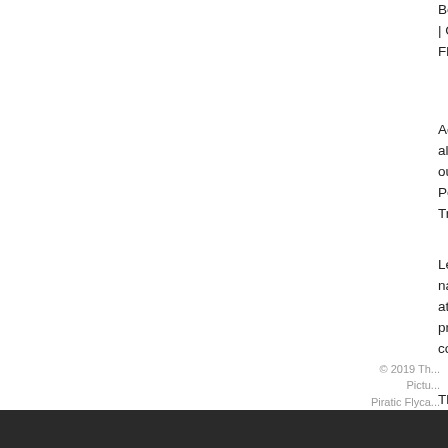Boat-billed Flycatcher | Boat-billed Tody-Tyrant | B... | Cinereous Becard | Cinereous Mourner | Cinnam... Flycatcher | Common Tody-Flycatcher | Double-ba...
According to Morton, the Piratic Flycatcher can fee... also prey on insects, mainly dragonflies, waiting or... out to attack. They feed insects to their young. Fan... Petchary Latin Name - Legatus leucophaius Range... Trinidad TR-PF01-04-04. More
Less than a half-dozen Piratic Flycatchers have be... named for a pair's propensity to dive at birds of an... at the top (e.g., pendant nests). Adults subsist mai... protein. picture not ready yet ManyBirds Bird Video... computer... More
This Piratic Flycatcher Legatus leucophaius - foun... photographed at Pollywog Pond, Corpus Christi, N... of Piratic Flycatcher (PIRFL) from Variegated Flyca... taxon have been documented in Canada and the U...
to record a piratic flycatcher for their lifelists. The n... closed for major plumbing repairs. My normal pract... return to the office, but on this day that wouldn't be...
© 2019 Th... Pictu... Piratic Flyca...